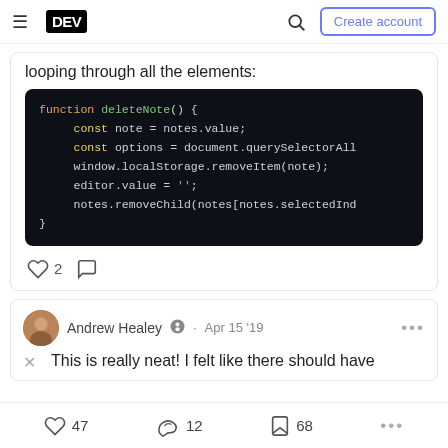DEV — Create account
looping through all the elements:
[Figure (screenshot): Code block showing function deleteNote() with JavaScript code on dark background]
2 (heart reactions) (comment icon)
Andrew Healey · Apr 15 '19
This is really neat! I felt like there should have
47  12  68  ...